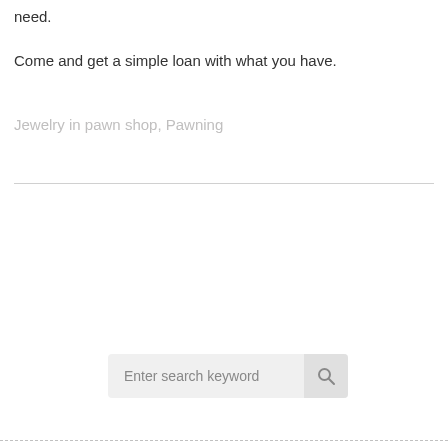need.
Come and get a simple loan with what you have.
Jewelry in pawn shop, Pawning
[Figure (screenshot): Search bar with placeholder text 'Enter search keyword' and a search icon button on the right]